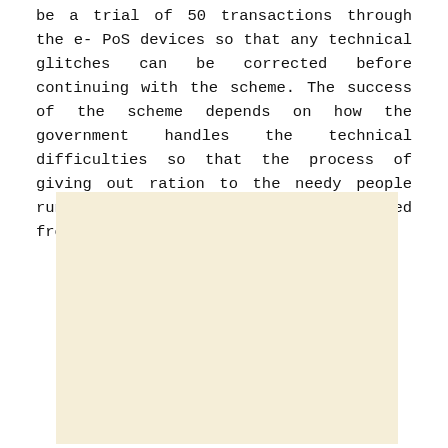be a trial of 50 transactions through the e- PoS devices so that any technical glitches can be corrected before continuing with the scheme. The success of the scheme depends on how the government handles the technical difficulties so that the process of giving out ration to the needy people runs smoothly and everybody is benefited from it.
[Figure (other): A blank cream/beige colored rectangular box, likely a placeholder for an image or figure.]